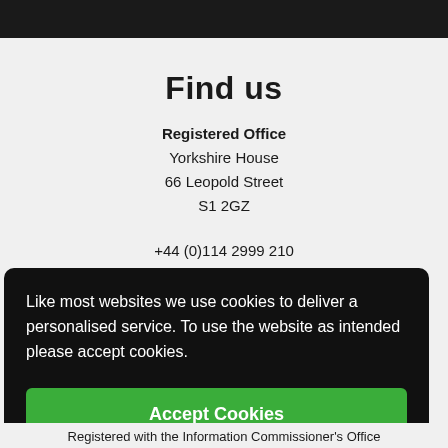Find us
Registered Office
Yorkshire House
66 Leopold Street
S1 2GZ
+44 (0)114 2999 210
hello@elementsociety.co.uk
Like most websites we use cookies to deliver a personalised service. To use the website as intended please accept cookies.
Accept Cookies
Registered with the Information Commissioner's Office